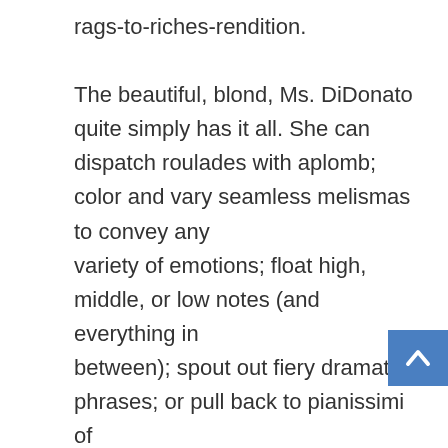rags-to-riches-rendition.

The beautiful, blond, Ms. DiDonato quite simply has it all. She can dispatch roulades with aplomb; color and vary seamless melismas to convey any variety of emotions; float high, middle, or low notes (and everything in between); spout out fiery dramatic phrases; or pull back to pianissimi of crushing frailty. It seems nothing in the role eludes her. She is a major artist with a beautifully schooled, richly handsome instrument, at the top of her game. Above all, she invites us into her world with a winning presence and an infectious delight, sharing her prodigious gifts in the service of one